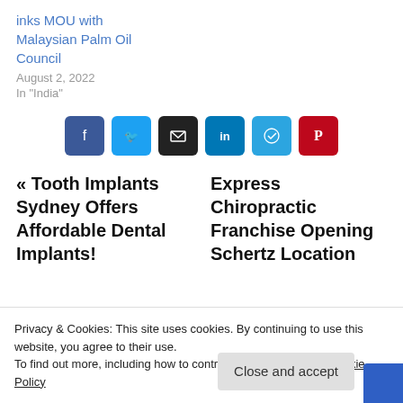inks MOU with Malaysian Palm Oil Council
August 2, 2022
In "India"
[Figure (other): Social sharing buttons: Facebook, Twitter, Email, LinkedIn, Telegram, Pinterest]
« Tooth Implants Sydney Offers Affordable Dental Implants!
Express Chiropractic Franchise Opening Schertz Location
Privacy & Cookies: This site uses cookies. By continuing to use this website, you agree to their use.
To find out more, including how to control cookies, see here: Cookie Policy
Close and accept